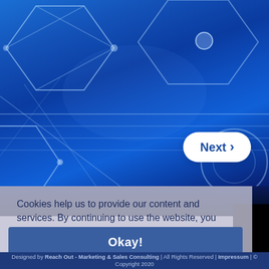[Figure (illustration): Blue technology background with glowing white hexagon network lines and geometric shapes on a vivid blue gradient background. A white rounded pill-shaped 'Next >' button is overlaid on the right side.]
Cookies help us to provide our content and services. By continuing to use the website, you agree to the use of cookies.
Okay!
Designed by Reach Out - Marketing & Sales Consulting | All Rights Reserved | Impressum | © Copyright 2020